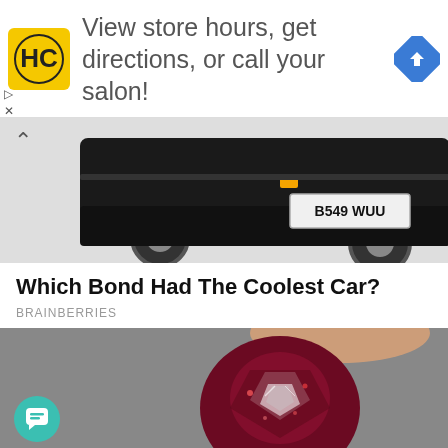[Figure (infographic): Advertisement banner with HC logo (black H and C on yellow square), text 'View store hours, get directions, or call your salon!', and a blue diamond navigation arrow icon on the right]
[Figure (photo): Rear of a black car showing license plate 'B549 WUU' on a light grey background, with back chevron arrow on the left]
Which Bond Had The Coolest Car?
BRAINBERRIES
[Figure (photo): Close-up photo of a dark red/maroon faceted gemstone (garnet or similar) being held between two fingers, against a gray background]